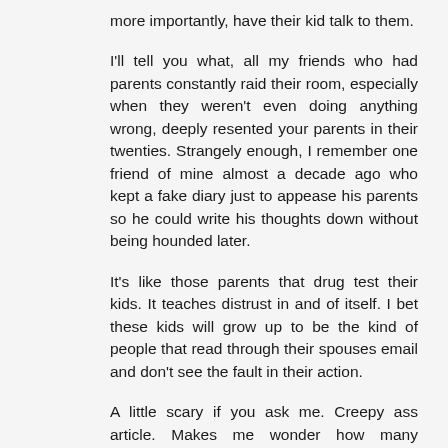more importantly, have their kid talk to them.
I'll tell you what, all my friends who had parents constantly raid their room, especially when they weren't even doing anything wrong, deeply resented your parents in their twenties. Strangely enough, I remember one friend of mine almost a decade ago who kept a fake diary just to appease his parents so he could write his thoughts down without being hounded later.
It's like those parents that drug test their kids. It teaches distrust in and of itself. I bet these kids will grow up to be the kind of people that read through their spouses email and don't see the fault in their action.
A little scary if you ask me. Creepy ass article. Makes me wonder how many mothers, who doubted their actions, Googled this and then said "well, maybe what I'm doing IS okay! Let see what the new page in little Timmy's diary has to